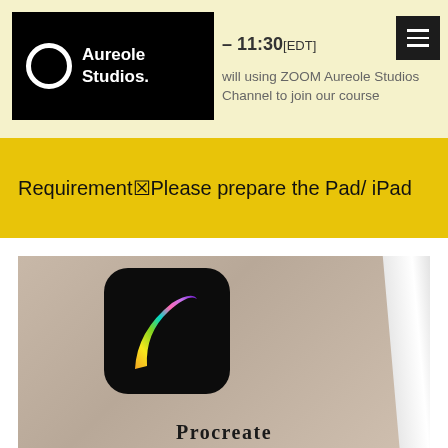[Figure (logo): Aureole Studios logo — white circle outline and white bold text 'Aureole Studios.' on black background]
– 11:30 [EDT]
will using ZOOM Aureole Studios Channel to join our course
Requirement☒Please prepare the Pad/ iPad
[Figure (photo): Close-up photo of an iPad showing the Procreate app icon (black rounded square with a rainbow-colored brush stroke) with an Apple Pencil resting on it. The word 'Procreate' is visible at the bottom.]